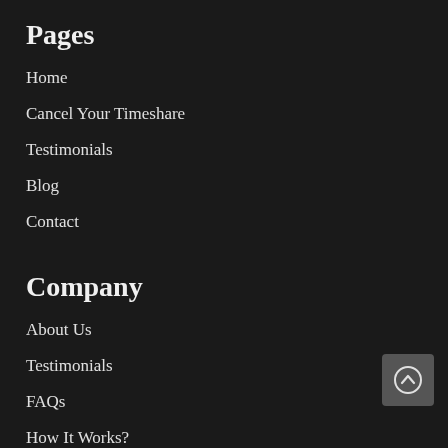Pages
Home
Cancel Your Timeshare
Testimonials
Blog
Contact
Company
About Us
Testimonials
FAQs
How It Works?
[Figure (other): Scroll to top button with upward chevron arrow icon]